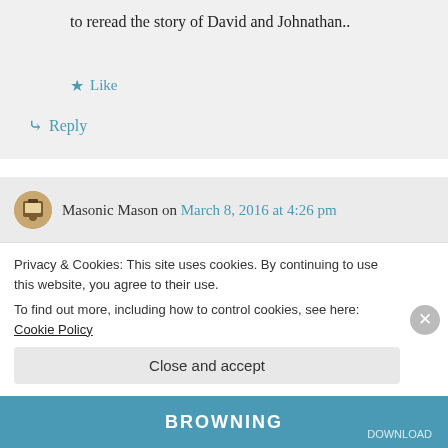to reread the story of David and Johnathan..
Like
Reply
Masonic Mason on March 8, 2016 at 4:26 pm
You are welcome to worship your higher power however you wish, but please do not
Privacy & Cookies: This site uses cookies. By continuing to use this website, you agree to their use. To find out more, including how to control cookies, see here: Cookie Policy
Close and accept